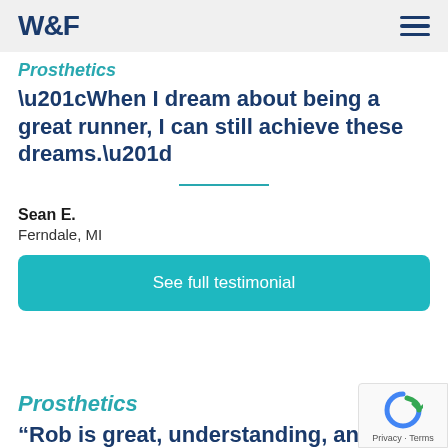W&F
Prosthetics
“When I dream about being a great runner, I can still achieve these dreams.”
Sean E.
Ferndale, MI
See full testimonial
Prosthetics
“Rob is great, understanding, and easy